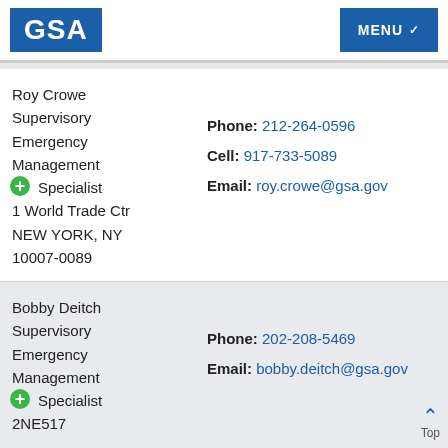GSA | MENU
Roy Crowe
Supervisory Emergency Management Specialist
1 World Trade Ctr
NEW YORK, NY
10007-0089
Phone: 212-264-0596
Cell: 917-733-5089
Email: roy.crowe@gsa.gov
Bobby Deitch
Supervisory Emergency Management Specialist
2NE517
Phone: 202-208-5469
Email: bobby.deitch@gsa.gov